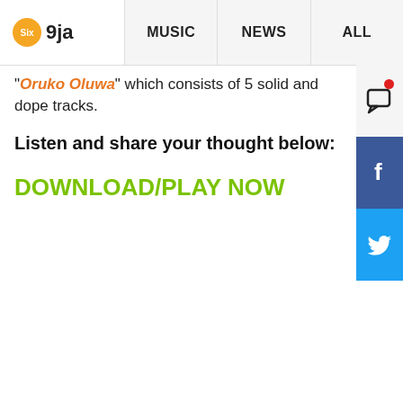Six9ja | MUSIC | NEWS | ALL
"Oruko Oluwa" which consists of 5 solid and dope tracks.
Listen and share your thought below:
DOWNLOAD/PLAY NOW